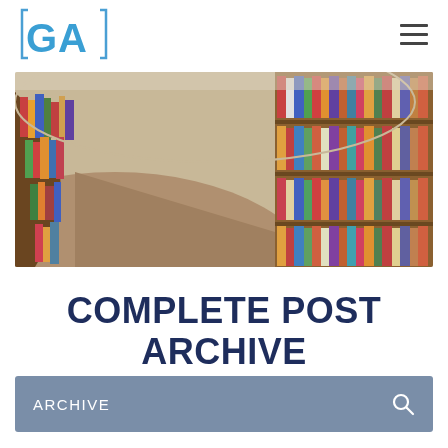GA logo and navigation menu
[Figure (photo): A circular library with curved shelves filled with colorful books stretching into the distance]
COMPLETE POST ARCHIVE
ARCHIVE (search bar)